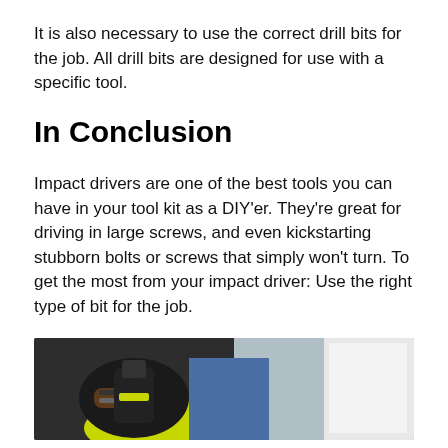It is also necessary to use the correct drill bits for the job. All drill bits are designed for use with a specific tool.
In Conclusion
Impact drivers are one of the best tools you can have in your tool kit as a DIY'er. They're great for driving in large screws, and even kickstarting stubborn bolts or screws that simply won't turn. To get the most from your impact driver: Use the right type of bit for the job.
[Figure (photo): Photo of a person's hands using an impact driver tool, with a yellow sleeve visible and other elements in the background.]